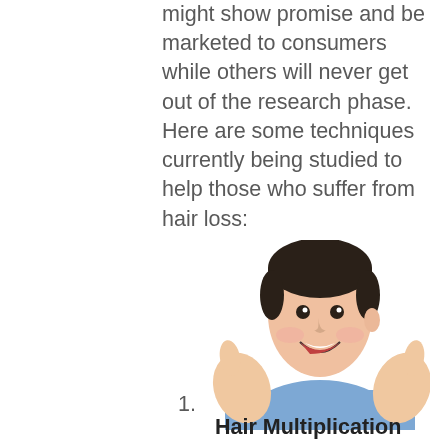might show promise and be marketed to consumers while others will never get out of the research phase. Here are some techniques currently being studied to help those who suffer from hair loss:
[Figure (photo): A smiling man in a blue sweater giving two thumbs up, shown from approximately chest up against a white background.]
1.  Hair Multiplication